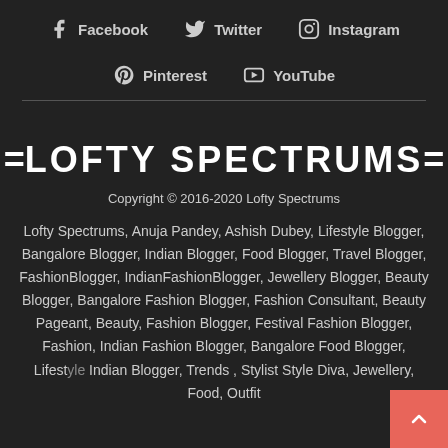Facebook  Twitter  Instagram  Pinterest  YouTube
=Lofty Spectrums=
Copyright © 2016-2020 Lofty Spectrums
Lofty Spectrums, Anuja Pandey, Ashish Dubey, Lifestyle Blogger, Bangalore Blogger, Indian Blogger, Food Blogger, Travel Blogger, FashionBlogger, IndianFashionBlogger, Jewellery Blogger, Beauty Blogger, Bangalore Fashion Blogger, Fashion Consultant, Beauty Pageant, Beauty, Fashion Blogger, Festival Fashion Blogger, Fashion, Indian Fashion Blogger, Bangalore Food Blogger, Lifestyle, Indian Blogger, Trends , Stylist Style Diva, Jewellery, Food, Outfit